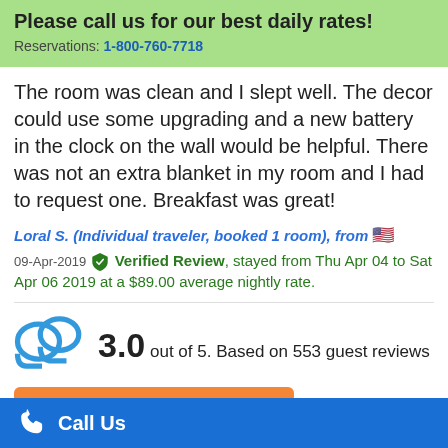Please call us for our best daily rates!
Reservations: 1-800-760-7718
The room was clean and I slept well. The decor could use some upgrading and a new battery in the clock on the wall would be helpful. There was not an extra blanket in my room and I had to request one. Breakfast was great!
Loral S. (Individual traveler, booked 1 room), from 🇺🇸
09-Apr-2019 Verified Review, stayed from Thu Apr 04 to Sat Apr 06 2019 at a $89.00 average nightly rate.
3.0 out of 5. Based on 553 guest reviews
Call Us